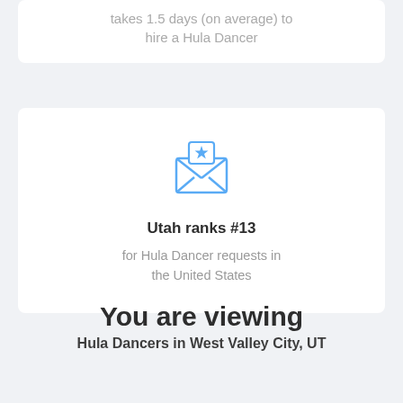takes 1.5 days (on average) to hire a Hula Dancer
[Figure (illustration): Blue envelope icon with a star badge on the flap, open envelope with folded letter inside]
Utah ranks #13 for Hula Dancer requests in the United States
You are viewing
Hula Dancers in West Valley City, UT